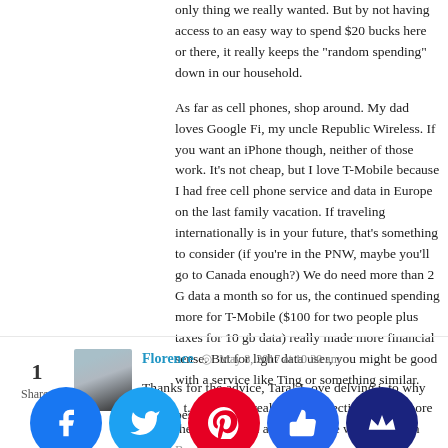only thing we really wanted. But by not having access to an easy way to spend $20 bucks here or there, it really keeps the "random spending" down in our household.
As far as cell phones, shop around. My dad loves Google Fi, my uncle Republic Wireless. If you want an iPhone though, neither of those work. It's not cheap, but I love T-Mobile because I had free cell phone service and data in Europe on the last family vacation. If traveling internationally is in your future, that's something to consider (if you're in the PNW, maybe you'll go to Canada enough?) We do need more than 2 G data a month so for us, the continued spending more for T-Mobile ($100 for two people plus taxes for 10 gb data) really made more financial sense. But for light data user, you might be good with a service like Ting or something similar.
best of luck!
Reply
Florence  ◎  May 8, 2017 at 10:30 am
Thanks for the advice, Tara! I love delving into why we want. But so many really good direction. I know more about the time crunch and stress. We work 9-9 both